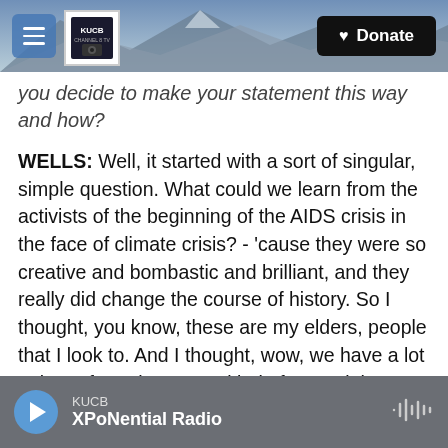KUCB Channel 8 TV — Donate
you decide to make your statement this way and how?
WELLS: Well, it started with a sort of singular, simple question. What could we learn from the activists of the beginning of the AIDS crisis in the face of climate crisis? - 'cause they were so creative and bombastic and brilliant, and they really did change the course of history. So I thought, you know, these are my elders, people that I look to. And I thought, wow, we have a lot to learn from them. So I kind of started there. And then as our own pandemic settled in, I really realized what companions these artists could be to me in an
KUCB — XPoNential Radio